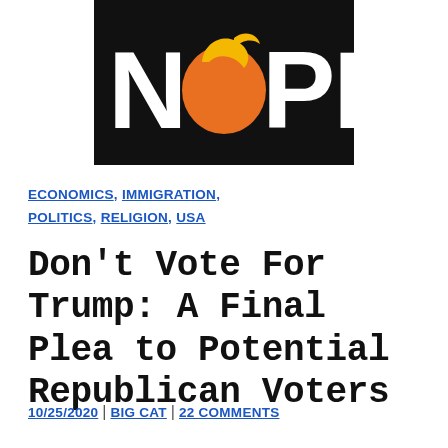[Figure (illustration): Black rectangular image with bold white text reading 'NOPE' where the O is replaced by an orange circle with a yellow swirl on top resembling a caricature of Donald Trump's hair.]
ECONOMICS, IMMIGRATION, POLITICS, RELIGION, USA
Don't Vote For Trump: A Final Plea to Potential Republican Voters
10/25/2020 | BIG CAT | 22 COMMENTS